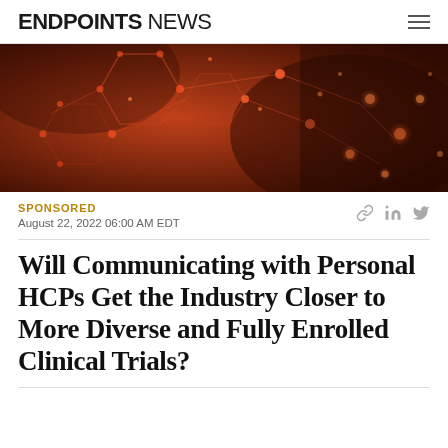ENDPOINTS NEWS
[Figure (photo): Abstract dark red/orange background with glowing network nodes and molecular/geometric patterns, suggesting biomedical or data science imagery.]
SPONSORED
August 22, 2022 06:00 AM EDT
Will Communicating with Personal HCPs Get the Industry Closer to More Diverse and Fully Enrolled Clinical Trials?